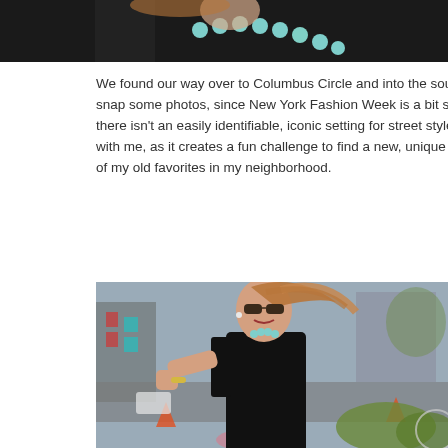[Figure (photo): Partial top photo showing a woman wearing a black outfit with a turquoise/mint necklace, cropped at the top of the page]
We found our way over to Columbus Circle and into the south west snap some photos, since New York Fashion Week is a bit scattered and there isn't an easily identifiable, iconic setting for street style pi okay with me, as it creates a fun challenge to find a new, unique sp to some of my old favorites in my neighborhood.
[Figure (photo): Woman with red/auburn hair blowing in the wind, wearing sunglasses, a black sleeveless dress, and a turquoise necklace, smiling and posing on a city street near Columbus Circle in New York, with blurred urban background including buildings, traffic cones, and greenery]